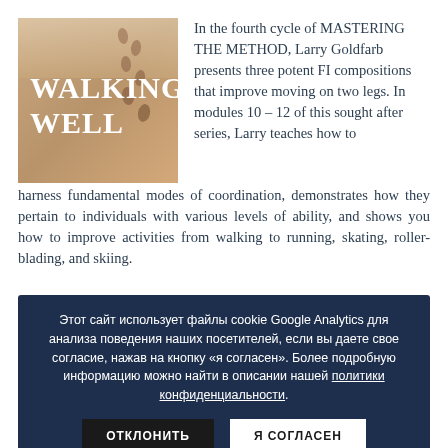[Figure (illustration): Book cover for 'Walking Well' showing footprints in sand with the title text in white serif font on a warm sandy background.]
In the fourth cycle of MASTERING THE METHOD, Larry Goldfarb presents three potent FI compositions that improve moving on two legs. In modules 10 – 12 of this sought after series, Larry teaches how to harness fundamental modes of coordination, demonstrates how they pertain to individuals with various levels of ability, and shows you how to improve activities from walking to running, skating, roller-blading, and skiing.
Этот сайт использует файлы cookie Google Analytics для анализа поведения наших посетителей, если вы даете свое согласие, нажав на кнопку «я согласен». Более подробную информацию можно найти в описании нашей политики конфиденциальности.
Improve self-use.